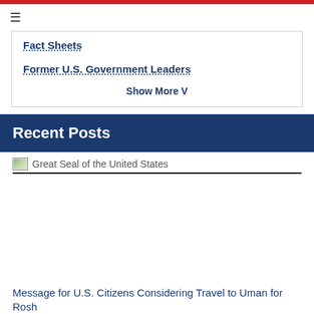Fact Sheets
Former U.S. Government Leaders
Show More V
Recent Posts
[Figure (photo): Great Seal of the United States image placeholder]
Message for U.S. Citizens Considering Travel to Uman for Rosh